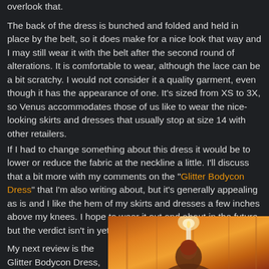overlook that.
The back of the dress is bunched and folded and held in place by the belt, so it does make for a nice look that way and I may still wear it with the belt after the second round of alterations. It is comfortable to wear, although the lace can be a bit scratchy. I would not consider it a quality garment, even though it has the appearance of one. It's sized from XS to 3X, so Venus accommodates those of us like to wear the nice-looking skirts and dresses that usually stop at size 14 with other retailers.
If I had to change something about this dress it would be to lower or reduce the fabric at the neckline a little. I'll discuss that a bit more with my comments on the "Glitter Bodycon Dress" that I'm also writing about, but it's generally appealing as is and I like the hem of my skirts and dresses a few inches above my knees. I hope to wear it out and about in the future, but the verdict isn't in yet.
My next review is the Glitter Bodycon Dress,
[Figure (photo): Photo of a person with warm orange/amber background lighting, partially visible from shoulders up]